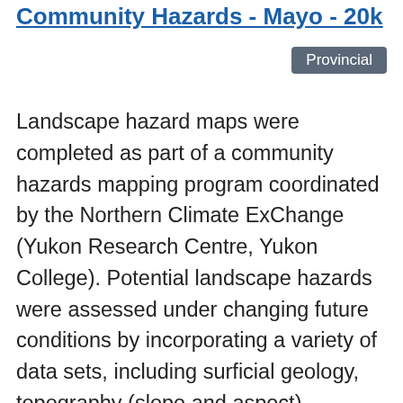Community Hazards - Mayo - 20k
Provincial
Landscape hazard maps were completed as part of a community hazards mapping program coordinated by the Northern Climate ExChange (Yukon Research Centre, Yukon College). Potential landscape hazards were assessed under changing future conditions by incorporating a variety of data sets, including surficial geology, topography (slope and aspect), permafrost distribution, site-specific permafrost